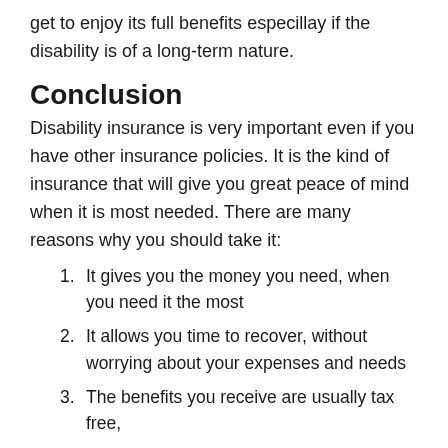get to enjoy its full benefits especillay if the disability is of a long-term nature.
Conclusion
Disability insurance is very important even if you have other insurance policies. It is the kind of insurance that will give you great peace of mind when it is most needed. There are many reasons why you should take it:
It gives you the money you need, when you need it the most
It allows you time to recover, without worrying about your expenses and needs
The benefits you receive are usually tax free,